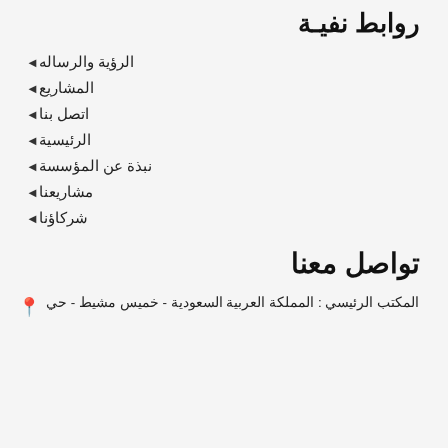روابط نفية
الرؤية والرساله
المشاريع
اتصل بنا
الرئيسية
نبذة عن المؤسسة
مشاريعنا
شركاؤنا
تواصل معنا
المكتب الرئيسي : المملكة العربية السعودية - خميس مشيط - حي